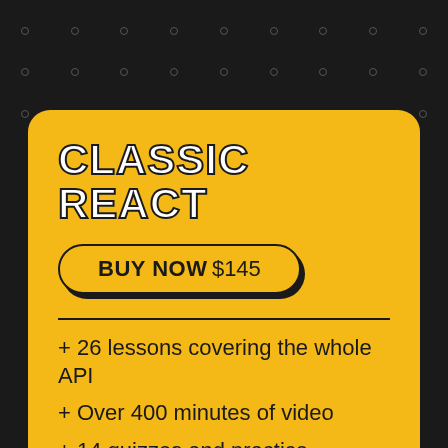CLASSIC REACT
BUY NOW $145
+ 26 lessons covering the whole API
+ Over 400 minutes of video
+ 14 quizzes and practice scenarios
+ 1 guided, enterprise-quality